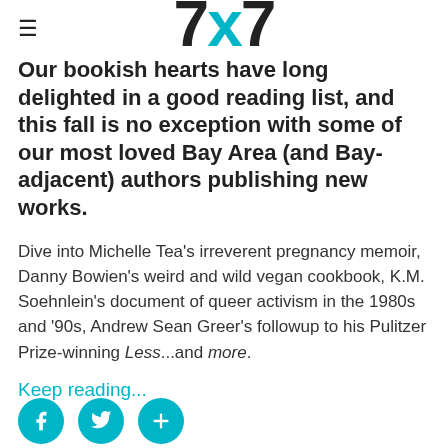≡  7x7
Our bookish hearts have long delighted in a good reading list, and this fall is no exception with some of our most loved Bay Area (and Bay-adjacent) authors publishing new works.
Dive into Michelle Tea's irreverent pregnancy memoir, Danny Bowien's weird and wild vegan cookbook, K.M. Soehnlein's document of queer activism in the 1980s and '90s, Andrew Sean Greer's followup to his Pulitzer Prize-winning Less...and more.
Keep reading...
[Figure (other): Social sharing icons: Facebook, Twitter, and a plus/share button, all in teal circles]